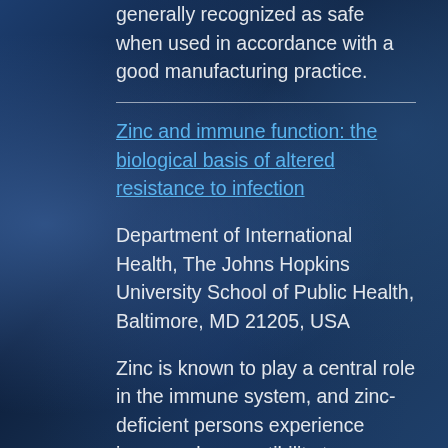generally recognized as safe when used in accordance with a good manufacturing practice.
Zinc and immune function: the biological basis of altered resistance to infection
Department of International Health, The Johns Hopkins University School of Public Health, Baltimore, MD 21205, USA
Zinc is known to play a central role in the immune system, and zinc-deficient persons experience increased susceptibility to a variety of pathogens. The immunologic mechanisms whereby zinc